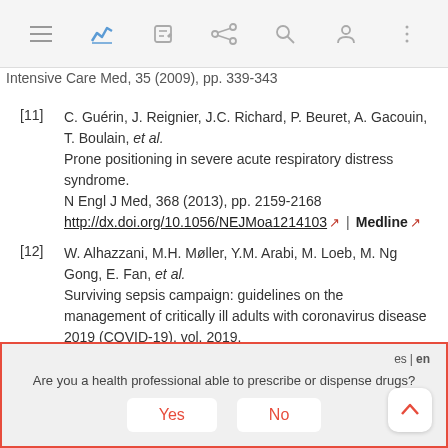Navigation bar with icons
Intensive Care Med, 35 (2009), pp. 339-343
[11] C. Guérin, J. Reignier, J.C. Richard, P. Beuret, A. Gacouin, T. Boulain, et al.
Prone positioning in severe acute respiratory distress syndrome.
N Engl J Med, 368 (2013), pp. 2159-2168
http://dx.doi.org/10.1056/NEJMoa1214103 | Medline
[12] W. Alhazzani, M.H. Møller, Y.M. Arabi, M. Loeb, M. Ng Gong, E. Fan, et al.
Surviving sepsis campaign: guidelines on the management of critically ill adults with coronavirus disease 2019 (COVID-19), vol. 2019.
Are you a health professional able to prescribe or dispense drugs?
Yes  No